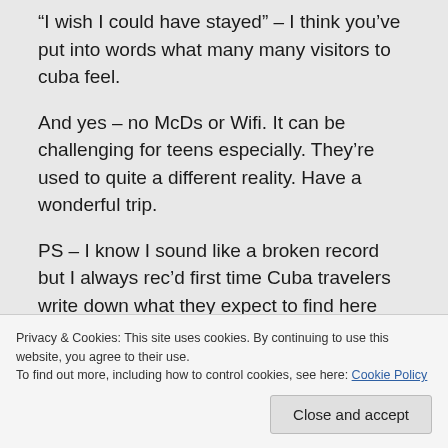“I wish I could have stayed” – I think you’ve put into words what many many visitors to cuba feel.
And yes – no McDs or Wifi. It can be challenging for teens especially. They’re used to quite a different reality. Have a wonderful trip.
PS – I know I sound like a broken record but I always rec’d first time Cuba travelers write down what they expect to find here
Privacy & Cookies: This site uses cookies. By continuing to use this website, you agree to their use.
To find out more, including how to control cookies, see here: Cookie Policy